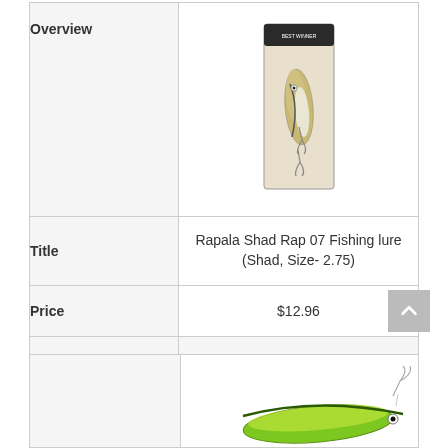|  |  |
| --- | --- |
| Overview | [product image: Rapala Shad Rap fishing lure in packaging] |
| Title | Rapala Shad Rap 07 Fishing lure (Shad, Size- 2.75) |
| Price | $12.96 |
| Rating | - |
| Details | [View Now button] |
[Figure (photo): Rapala Shad Rap 07 fishing lure in retail packaging, showing a realistic fish-shaped lure with hooks]
[Figure (photo): Partial view of a green/yellow fishing lure, second product below the scroll-to-top button]